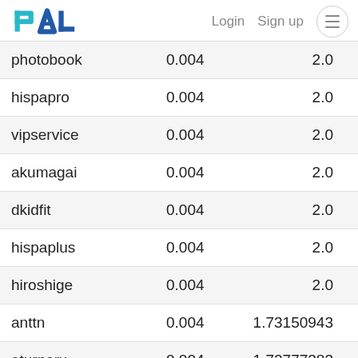PAL  Login  Sign up
|  |  |  |  |
| --- | --- | --- | --- |
| photobook | 0.004 | 2.0 | 0.082% |
| hispapro | 0.004 | 2.0 | 0.082% |
| vipservice | 0.004 | 2.0 | 0.082% |
| akumagai | 0.004 | 2.0 | 0.082% |
| dkidfit | 0.004 | 2.0 | 0.082% |
| hispaplus | 0.004 | 2.0 | 0.082% |
| hiroshige | 0.004 | 2.0 | 0.082% |
| anttn | 0.004 | 1.73150943 | 0.072% |
| eturnerx | 0.004 | 1.72777383 | 0.071% |
| jfang003 | 0.004 | 1.6… | 0.066% |
| quinnertronics | 0.004 | 1.54194732 | 0.063% |